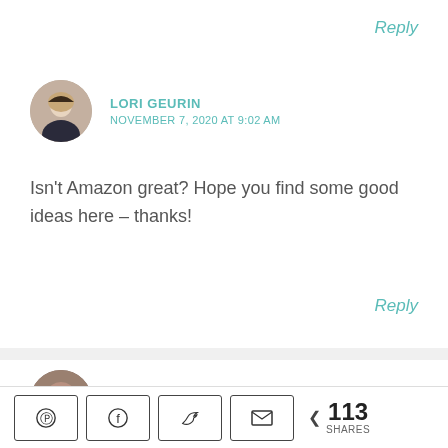Reply
LORI GEURIN
NOVEMBER 7, 2020 AT 9:02 AM
Isn't Amazon great? Hope you find some good ideas here – thanks!
Reply
HELEN LITTLE
NOVEMBER 6, 2020 AT 11:24 PM
113 SHARES